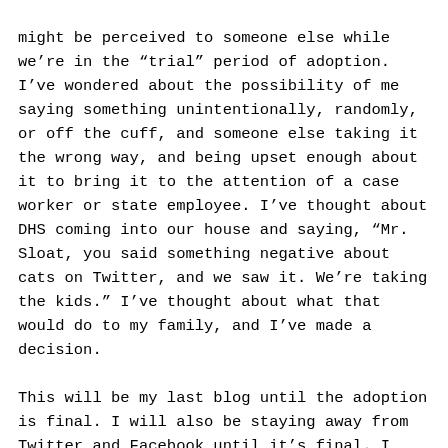might be perceived to someone else while we're in the “trial” period of adoption. I’ve wondered about the possibility of me saying something unintentionally, randomly, or off the cuff, and someone else taking it the wrong way, and being upset enough about it to bring it to the attention of a case worker or state employee. I’ve thought about DHS coming into our house and saying, “Mr. Sloat, you said something negative about cats on Twitter, and we saw it. We’re taking the kids.” I’ve thought about what that would do to my family, and I’ve made a decision.
This will be my last blog until the adoption is final. I will also be staying away from Twitter and Facebook until it’s final. I will be limiting my online presence to occasionally